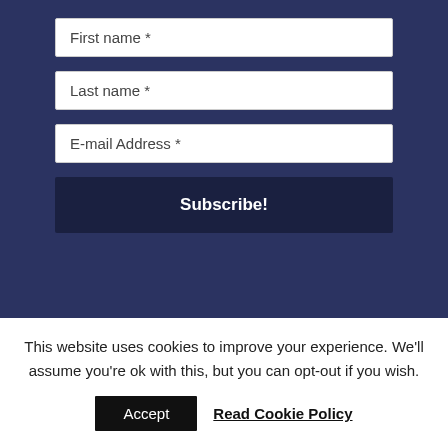First name *
Last name *
E-mail Address *
Subscribe!
Privacy Policy | Accessibility Statement | Recent ...
This website uses cookies to improve your experience. We'll assume you're ok with this, but you can opt-out if you wish.
Accept
Read Cookie Policy